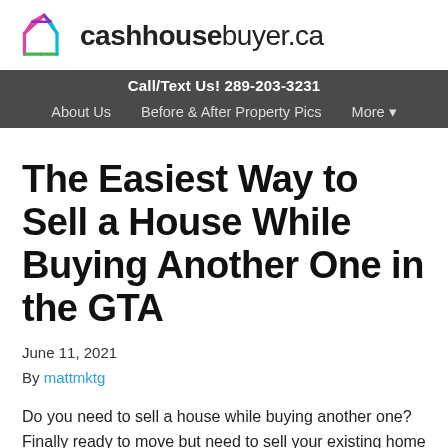[Figure (logo): Cashhousebuyer.ca logo with colorful geometric house outline and wordmark]
Call/Text Us! 289-203-3231 | About Us | Before & After Property Pics | More
The Easiest Way to Sell a House While Buying Another One in the GTA
June 11, 2021
By mattmktg
Do you need to sell a house while buying another one? Finally ready to move but need to sell your existing home first? By listing your home on the traditional